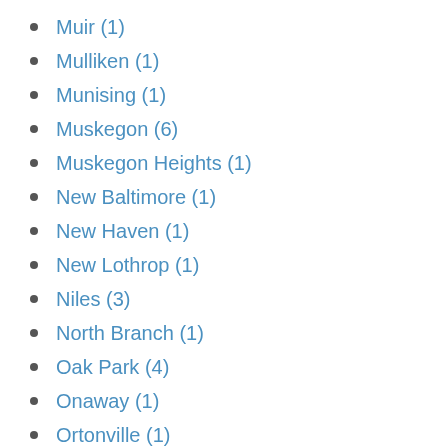Muir (1)
Mulliken (1)
Munising (1)
Muskegon (6)
Muskegon Heights (1)
New Baltimore (1)
New Haven (1)
New Lothrop (1)
Niles (3)
North Branch (1)
Oak Park (4)
Onaway (1)
Ortonville (1)
Ottawa Lake (1)
Owosso (6)